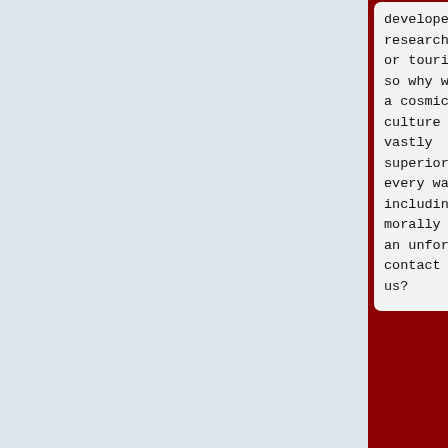developers, researchers, or tourists, so why would a cosmic culture vastly superior in every way, including morally risk an unforced contact with us?
developers, researchers, or tourists, so why would a cosmic culture vastly superior in every way, including morally risk an unforced contact with us?
Nothing stops us from developing to the point
Nothing stops us from developing to the point